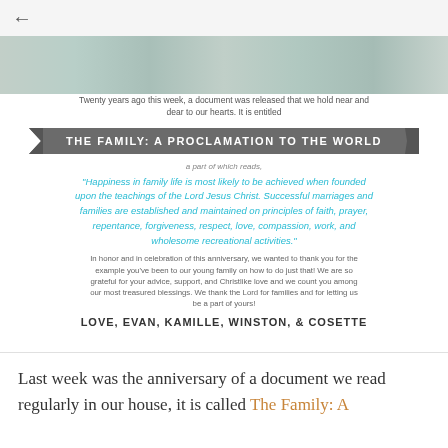← (back navigation)
[Figure (photo): Partial photo of people/children, cropped at top]
Twenty years ago this week, a document was released that we hold near and dear to our hearts. It is entitled
THE FAMILY: A PROCLAMATION TO THE WORLD
a part of which reads,
"Happiness in family life is most likely to be achieved when founded upon the teachings of the Lord Jesus Christ. Successful marriages and families are established and maintained on principles of faith, prayer, repentance, forgiveness, respect, love, compassion, work, and wholesome recreational activities."
In honor and in celebration of this anniversary, we wanted to thank you for the example you've been to our young family on how to do just that! We are so grateful for your advice, support, and Christlike love and we count you among our most treasured blessings. We thank the Lord for families and for letting us be a part of yours!
LOVE, EVAN, KAMILLE, WINSTON, & COSETTE
Last week was the anniversary of a document we read regularly in our house, it is called The Family: A